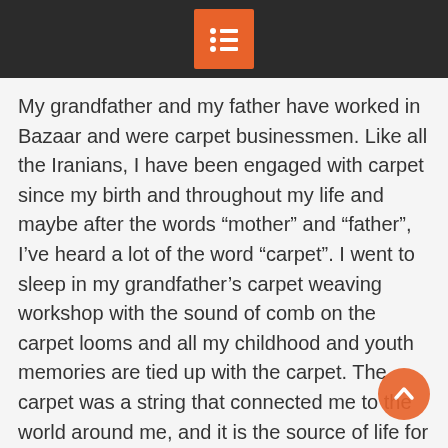My grandfather and my father have worked in Bazaar and were carpet businessmen. Like all the Iranians, I have been engaged with carpet since my birth and throughout my life and maybe after the words “mother” and “father”, I’ve heard a lot of the word “carpet”. I went to sleep in my grandfather’s carpet weaving workshop with the sound of comb on the carpet looms and all my childhood and youth memories are tied up with the carpet. The carpet was a string that connected me to the world around me, and it is the source of life for me and my family. When I was a kid, I went to the mountains and plains with my father to buy wool from the tribes. As a young man, as my father’s representative, I was in charge of the delivery of wool and giving carpet loops to the carpet weaving women in the home